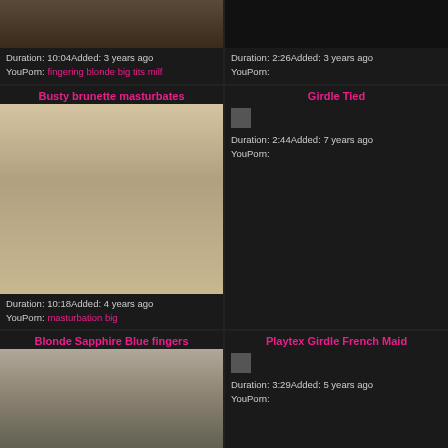Duration: 10:04Added: 3 years ago
YouPorn: fingering blonde big tits milf
Duration: 2:26Added: 3 years ago
YouPorn:
Busty brunette masturbates
Duration: 10:18Added: 4 years ago
YouPorn: masturbation big
Girdle Tied
Duration: 2:44Added: 7 years ago
YouPorn:
Blonde Sapphire Blue fingers
Playtex Girdle French Maid
Duration: 3:29Added: 5 years ago
YouPorn: